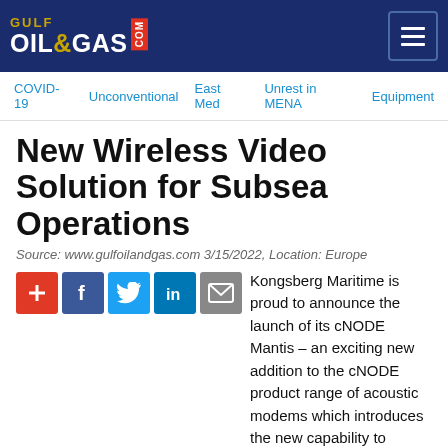GULF OIL & GAS .com
COVID-19  Unconventional  East Med  Unrest in MENA  Equipment
New Wireless Video Solution for Subsea Operations
Source: www.gulfoilandgas.com 3/15/2022, Location: Europe
[Figure (infographic): Social sharing icons: plus/add button (red), Facebook (blue), Twitter (light blue), LinkedIn (dark blue), Email/envelope (gray)]
Kongsberg Maritime is proud to announce the launch of its cNODE Mantis – an exciting new addition to the cNODE product range of acoustic modems which introduces the new capability to stream a live video feed for a variety of subsea installation tasks.
Having established itself over the years as an acoustic positioning system of unmatched reliability and robustness, the